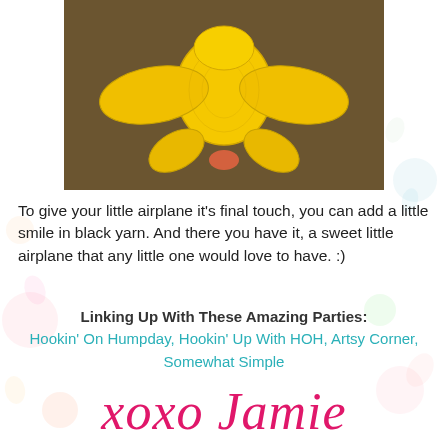[Figure (photo): A yellow crocheted toy airplane viewed from above/behind, showing wings and body, on a brown background.]
To give your little airplane it's final touch, you can add a little smile in black yarn. And there you have it, a sweet little airplane that any little one would love to have. :)
Linking Up With These Amazing Parties:
Hookin' On Humpday, Hookin' Up With HOH, Artsy Corner, Somewhat Simple
xoxo Jamie